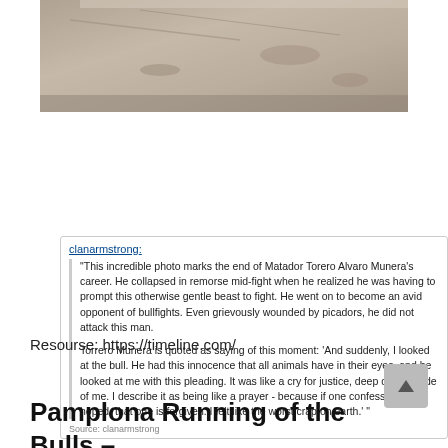[Figure (photo): Close-up photo of a stone or concrete textured surface with mottled gray and brown tones]
clanarmstrong:
"This incredible photo marks the end of Matador Torero Alvaro Munera's career. He collapsed in remorse mid-fight when he realized he was having to prompt this otherwise gentle beast to fight. He went on to become an avid opponent of bullfights. Even grievously wounded by picadors, he did not attack this man.

Torrero Munera is quoted as saying of this moment: 'And suddenly, I looked at the bull. He had this innocence that all animals have in their eyes, and he looked at me with this pleading. It was like a cry for justice, deep down inside of me. I describe it as being like a prayer - because if one confesses, it is hoped, that one is forgiven. I felt like the worst crap on earth.' "
Source: clanarmstrong
Resourse: https://timeline.com/
Pamplona Running of the Bulls –
Featuring Someone Ath...